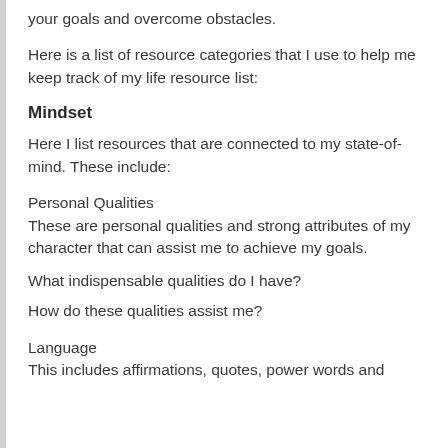your goals and overcome obstacles.
Here is a list of resource categories that I use to help me keep track of my life resource list:
Mindset
Here I list resources that are connected to my state-of-mind. These include:
Personal Qualities
These are personal qualities and strong attributes of my character that can assist me to achieve my goals.
What indispensable qualities do I have?
How do these qualities assist me?
Language
This includes affirmations, quotes, power words and